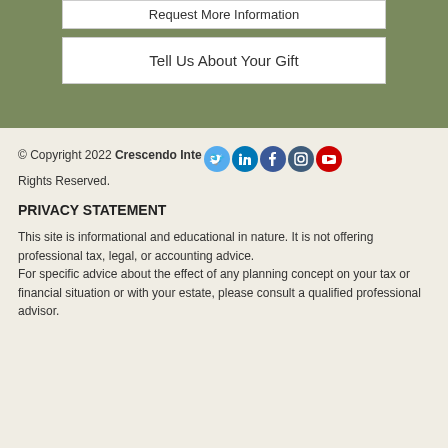Request More Information
Tell Us About Your Gift
© Copyright 2022 Crescendo Interactive. All Rights Reserved.
[Figure (illustration): Social media icons: Twitter (blue bird), LinkedIn (dark blue), Facebook (dark blue), Instagram (dark), YouTube (red)]
PRIVACY STATEMENT
This site is informational and educational in nature. It is not offering professional tax, legal, or accounting advice. For specific advice about the effect of any planning concept on your tax or financial situation or with your estate, please consult a qualified professional advisor.